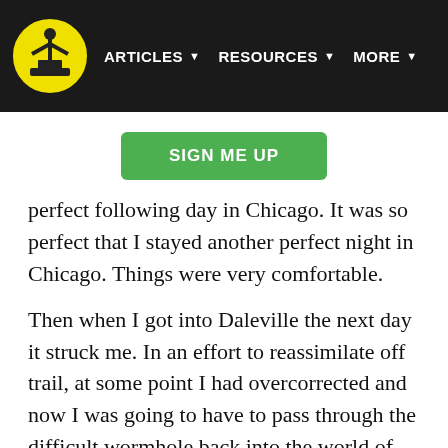ARTICLES  RESOURCES  MORE
SIGN ME UP
perfect following day in Chicago.  It was so perfect that I stayed another perfect night in Chicago.  Things were very comfortable.
Then when I got into Daleville the next day it struck me.  In an effort to reassimilate off trail, at some point I had overcorrected and now I was going to have to pass through the difficult wormhole back into the world of trail life.  It took me an extra night in Daleville.  I watched a “Family Guy” marathon and went to the grocery store.  That’s really about it.  But I got my shit together and the next day forced myself back into the furnace.  It wasn’t a fun day but in the